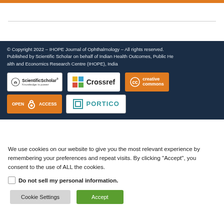© Copyright 2022 – IHOPE Journal of Ophthalmology – All rights reserved. Published by Scientific Scholar on behalf of Indian Health Outcomes, Public Health and Economics Research Centre (IHOPE), India
[Figure (logo): Scientific Scholar logo]
[Figure (logo): Crossref logo]
[Figure (logo): Creative Commons logo]
[Figure (logo): Open Access logo]
[Figure (logo): Portico logo]
We use cookies on our website to give you the most relevant experience by remembering your preferences and repeat visits. By clicking "Accept", you consent to the use of ALL the cookies.
Do not sell my personal information